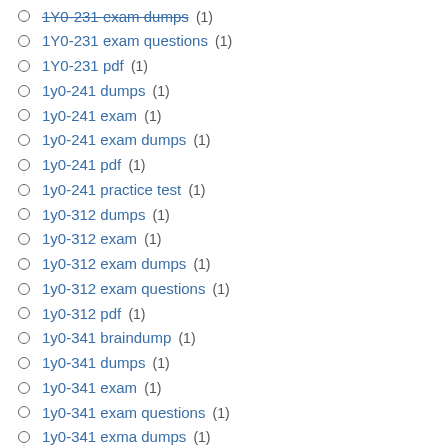1Y0-231 exam dumps (1)
1Y0-231 exam questions (1)
1Y0-231 pdf (1)
1y0-241 dumps (1)
1y0-241 exam (1)
1y0-241 exam dumps (1)
1y0-241 pdf (1)
1y0-241 practice test (1)
1y0-312 dumps (1)
1y0-312 exam (1)
1y0-312 exam dumps (1)
1y0-312 exam questions (1)
1y0-312 pdf (1)
1y0-341 braindump (1)
1y0-341 dumps (1)
1y0-341 exam (1)
1y0-341 exam questions (1)
1y0-341 exma dumps (1)
1y0-341 pdf (1)
1y0-341 vce (1)